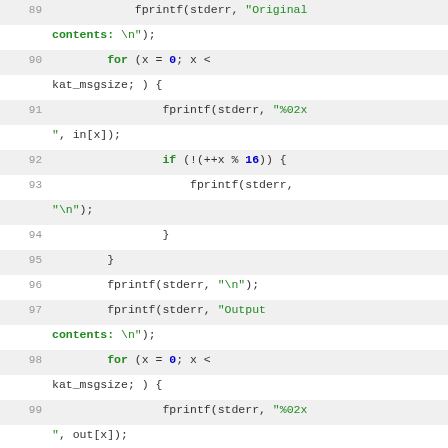[Figure (screenshot): Source code listing in C showing lines 89-110, with line numbers and syntax highlighting. Keywords in green bold, numeric literals in blue bold, string literals in green. Code shows fprintf/for/if/return statements for printing original and output contents.]